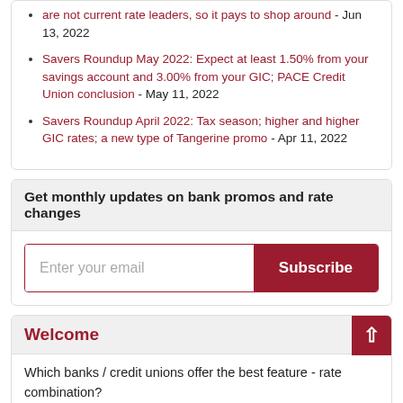are not current rate leaders, so it pays to shop around - Jun 13, 2022
Savers Roundup May 2022: Expect at least 1.50% from your savings account and 3.00% from your GIC; PACE Credit Union conclusion - May 11, 2022
Savers Roundup April 2022: Tax season; higher and higher GIC rates; a new type of Tangerine promo - Apr 11, 2022
Get monthly updates on bank promos and rate changes
Enter your email
Welcome
Which banks / credit unions offer the best feature - rate combination?